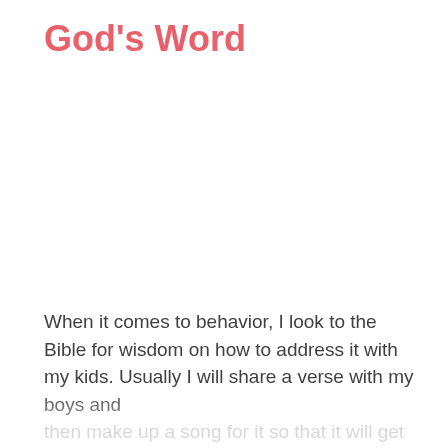God's Word
When it comes to behavior, I look to the Bible for wisdom on how to address it with my kids. Usually I will share a verse with my boys and then make up a song for it so that it will get into their hearts quicker and hopefully for